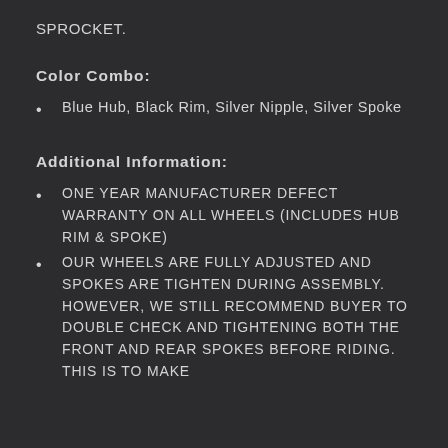SPROCKET.
Color Combo:
Blue Hub, Black Rim, Silver Nipple, Silver Spoke
Additional Information:
ONE YEAR MANUFACTURER DEFECT WARRANTY ON ALL WHEELS (INCLUDES HUB RIM & SPOKE)
OUR WHEELS ARE FULLY ADJUSTED AND SPOKES ARE TIGHTEN DURING ASSEMBLY. HOWEVER, WE STILL RECOMMEND BUYER TO DOUBLE CHECK AND TIGHTENING BOTH THE FRONT AND REAR SPOKES BEFORE RIDING. THIS IS TO MAKE